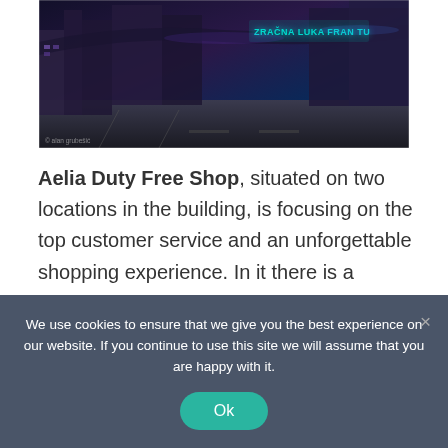[Figure (photo): Night photo of Zagreb Airport (Zračna luka Fran Tuđman) showing terminal structure with illuminated teal signage, road surface in foreground, and purple-blue night sky. Photo credit: © alan grubešić]
Aelia Duty Free Shop, situated on two locations in the building, is focusing on the top customer service and an unforgettable shopping experience. In it there is a specially designed space which presents the richness of Croatian tradition and the authenticity of Croatian culture through the offer. The Fashion Accessories shop includes luxury
We use cookies to ensure that we give you the best experience on our website. If you continue to use this site we will assume that you are happy with it.
Ok